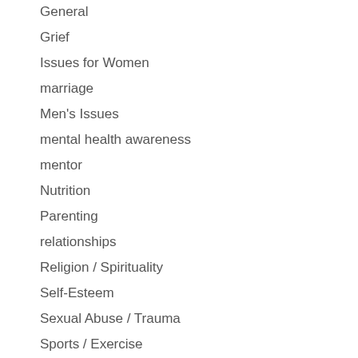General
Grief
Issues for Women
marriage
Men's Issues
mental health awareness
mentor
Nutrition
Parenting
relationships
Religion / Spirituality
Self-Esteem
Sexual Abuse / Trauma
Sports / Exercise
stress